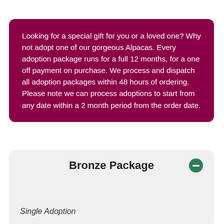Looking for a special gift for you or a loved one? Why not adopt one of our gorgeous Alpacas. Every adoption package runs for a full 12 months, for a one off payment on purchase. We process and dispatch all adoption packages within 48 hours of ordering. Please note we can process adoptions to start from any date within a 2 month period from the order date.
Bronze Package
Single Adoption